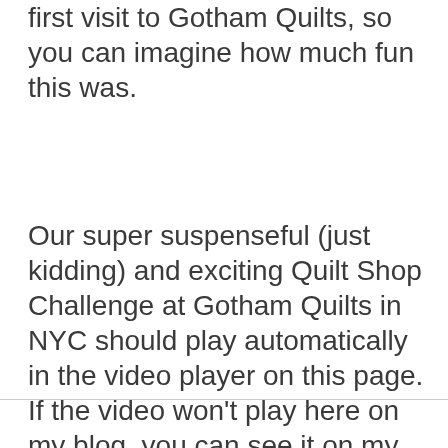first visit to Gotham Quilts, so you can imagine how much fun this was.
Our super suspenseful (just kidding) and exciting Quilt Shop Challenge at Gotham Quilts in NYC should play automatically in the video player on this page. If the video won't play here on my blog, you can see it on my YouTube channel too.